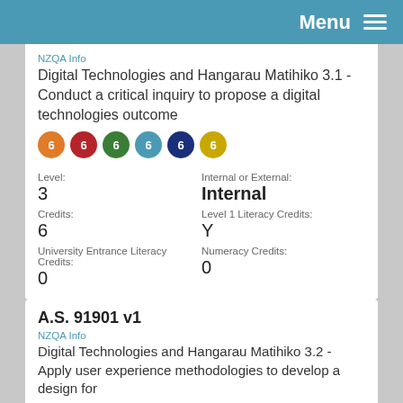Menu
NZQA Info
Digital Technologies and Hangarau Matihiko 3.1 - Conduct a critical inquiry to propose a digital technologies outcome
6 6 6 6 6 6
Level:
3
Credits:
6
University Entrance Literacy Credits:
0
Internal or External:
Internal
Level 1 Literacy Credits:
Y
Numeracy Credits:
0
A.S. 91901 v1
NZQA Info
Digital Technologies and Hangarau Matihiko 3.2 - Apply user experience methodologies to develop a design for